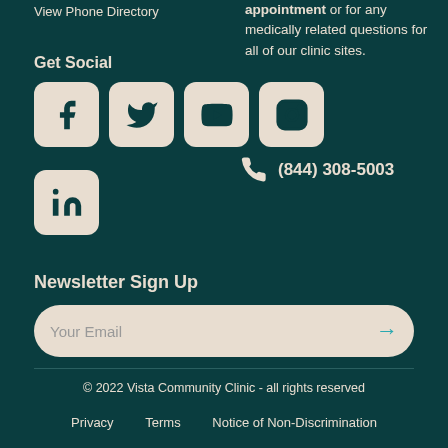View Phone Directory
Get Social
[Figure (other): Social media icons: Facebook, Twitter, YouTube, Instagram, LinkedIn]
appointment or for any medically related questions for all of our clinic sites.
(844) 308-5003
Newsletter Sign Up
Your Email
© 2022 Vista Community Clinic - all rights reserved
Privacy   Terms   Notice of Non-Discrimination